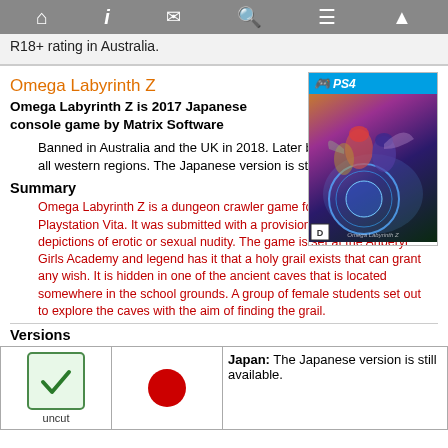Navigation bar with home, info, mail, search, menu, and up icons
R18+ rating in Australia.
Omega Labyrinth Z
[Figure (photo): PS4 game cover for Omega Labyrinth Z showing anime characters and a blue glowing circle, with PS4 branding bar at top and D rating box at bottom left]
Omega Labyrinth Z is 2017 Japanese console game by Matrix Software
Banned in Australia and the UK in 2018. Later banned by Sony from all western regions. The Japanese version is still available.
Summary
Omega Labyrinth Z is a dungeon crawler game for the PS4 and Playstation Vita. It was submitted with a provisional PEGI 16 rating for depictions of erotic or sexual nudity. The game is set at the Anberyl Girls Academy and legend has it that a holy grail exists that can grant any wish. It is hidden in one of the ancient caves that is located somewhere in the school grounds. A group of female students set out to explore the caves with the aim of finding the grail.
Versions
| Status | Region indicator | Description |
| --- | --- | --- |
| uncut | (red dot) | Japan: The Japanese version is still available. |